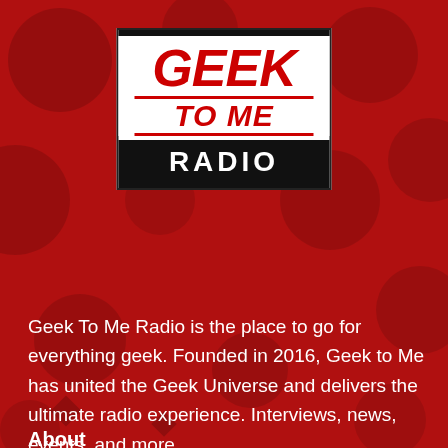[Figure (logo): Geek To Me Radio logo — white box with black border, red italic GEEK text, red italic TO ME text, black RADIO bar with white letters]
Geek To Me Radio is the place to go for everything geek. Founded in 2016, Geek to Me has united the Geek Universe and delivers the ultimate radio experience. Interviews, news, events, and more.
About